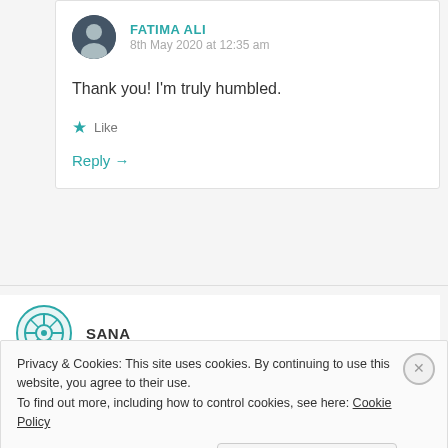FATIMA ALI
8th May 2020 at 12:35 am
Thank you! I'm truly humbled.
★ Like
Reply →
SANA
9th May 2020 at 12:24 am
Privacy & Cookies: This site uses cookies. By continuing to use this website, you agree to their use.
To find out more, including how to control cookies, see here: Cookie Policy
Close and accept